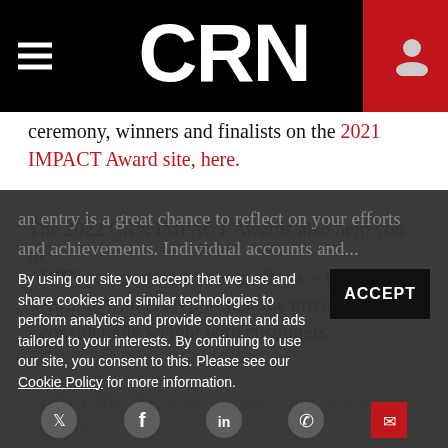CRN
ceremony, winners and finalists on the 2021 IMPACT Award site, here.
The 2022 CRN IMPACT Awards also help you to:
WIN recognition for your efforts – IMPACT Awards winners report that the prizes carry considerable weight with customers
CELEBRATE your success – just putting together an entry is a great chance to reflect on your efforts and achievements. Individual accounts and…
By using our site you accept that we use and share cookies and similar technologies to perform analytics and provide content and ads tailored to your interests. By continuing to use our site, you consent to this. Please see our Cookie Policy for more information.